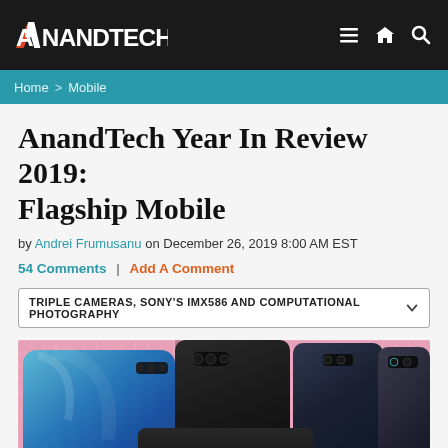AnandTech
Home > Mobile
AnandTech Year In Review 2019: Flagship Mobile
by Andrei Frumusanu on December 26, 2019 8:00 AM EST
54 Comments | Add A Comment
TRIPLE CAMERAS, SONY'S IMX586 AND COMPUTATIONAL PHOTOGRAPHY
[Figure (photo): Multiple flagship smartphones laid on a pink grid cutting mat, showing their rear cameras]